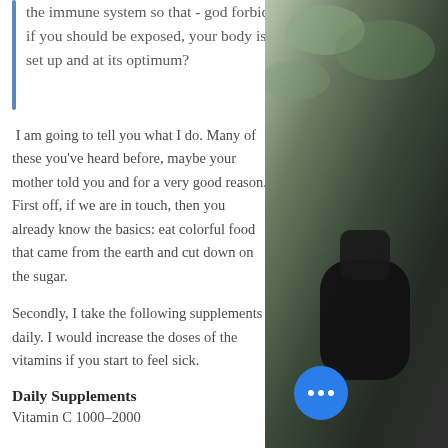the immune system so that - god forbid - if you should be exposed, your body is set up and at its optimum?
I am going to tell you what I do. Many of these you've heard before, maybe your mother told you and for a very good reason. First off, if we are in touch, then you already know the basics: eat colorful food that came from the earth and cut down on the sugar.
Secondly, I take the following supplements daily. I would increase the doses of the vitamins if you start to feel sick.
Daily Supplements
Vitamin C 1000-2000
[Figure (photo): Dark photographic background showing foliage and a dark rounded object (car or bag handle), visible on the right side of the page]